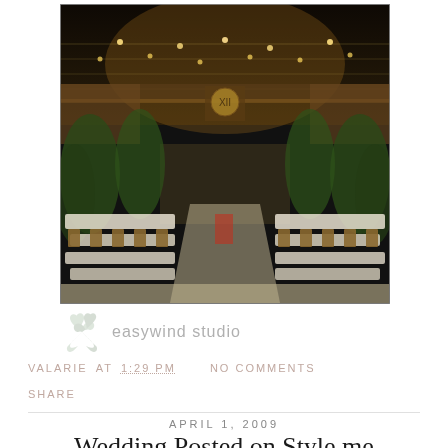[Figure (photo): Interior of an elegant wedding reception venue — a grand hall with string lights hanging from the ceiling, wooden balconies, tall palm trees and floral arrangements, long banquet tables set with white linens and wooden folding chairs, viewed from a central aisle perspective.]
[Figure (logo): Easywind Studio logo — a swirling pinwheel/wind graphic in gray-green tones next to the text 'easywind studio' in gray.]
VALARIE AT 1:29 PM   NO COMMENTS
SHARE
APRIL 1, 2009
Wedding Posted on Style me